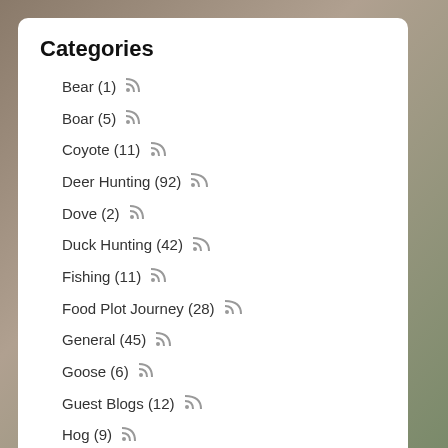Categories
Bear (1)
Boar (5)
Coyote (11)
Deer Hunting (92)
Dove (2)
Duck Hunting (42)
Fishing (11)
Food Plot Journey (28)
General (45)
Goose (6)
Guest Blogs (12)
Hog (9)
Hunting (183)
Hunting Products (15)
Intro to Game Management (16)